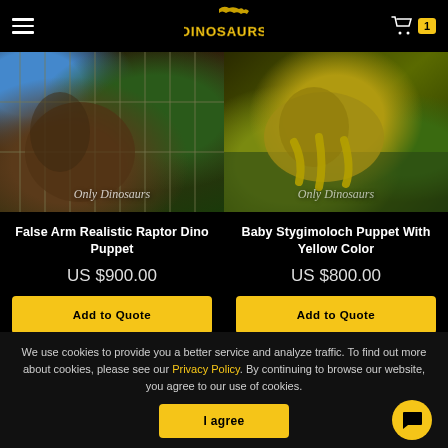DINOSAURS — navigation header with hamburger menu, logo, and cart (1 item)
[Figure (photo): False Arm Realistic Raptor Dino Puppet product photo with 'Only Dinosaurs' watermark]
[Figure (photo): Baby Stygimoloch Puppet With Yellow Color product photo with 'Only Dinosaurs' watermark]
False Arm Realistic Raptor Dino Puppet
US $900.00
Add to Quote
Baby Stygimoloch Puppet With Yellow Color
US $800.00
Add to Quote
We use cookies to provide you a better service and analyze traffic. To find out more about cookies, please see our Privacy Policy. By continuing to browse our website, you agree to our use of cookies.
I agree